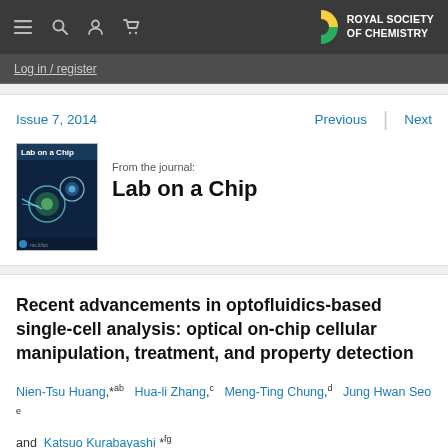Royal Society of Chemistry — navigation bar with menu, search, user, cart icons and RSC logo
Log in / register
Issue 7, 2014
Previous | Next
[Figure (photo): Lab on a Chip journal cover image showing microfluidic chip with colorful circular features on dark background]
From the journal:
Lab on a Chip
Recent advancements in optofluidics-based single-cell analysis: optical on-chip cellular manipulation, treatment, and property detection
Nien-Tsu Huang,*ab Hua-li Zhang,c Meng-Ting Chung,d Jung Hwan Seoe and Katsuo Kurabayashi*fg